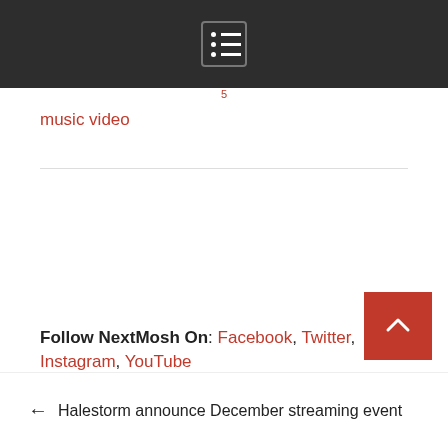menu icon header bar
music video
Follow NextMosh On: Facebook, Twitter, Instagram, YouTube
This post may contain referral links.
Der Weg einer Freiheit
← Halestorm announce December streaming event